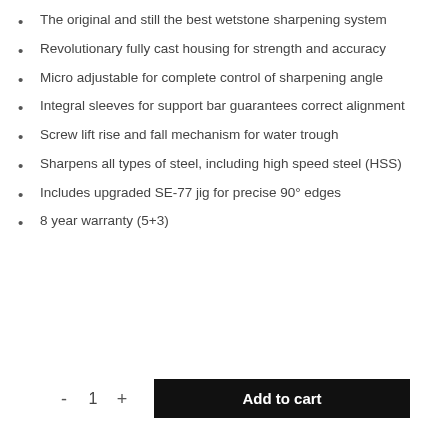The original and still the best wetstone sharpening system
Revolutionary fully cast housing for strength and accuracy
Micro adjustable for complete control of sharpening angle
Integral sleeves for support bar guarantees correct alignment
Screw lift rise and fall mechanism for water trough
Sharpens all types of steel, including high speed steel (HSS)
Includes upgraded SE-77 jig for precise 90° edges
8 year warranty (5+3)